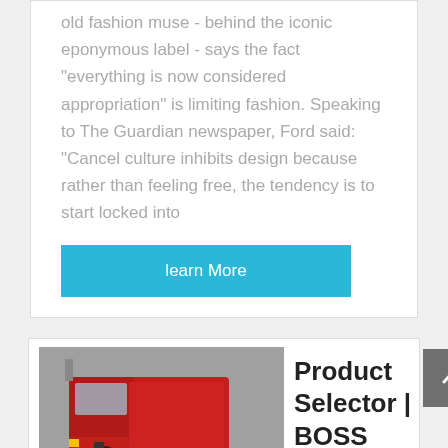old fashion muse - behind the iconic eponymous label - says the fact "everything is now considered appropriation" is limiting fashion. Speaking to The Guardian newspaper, Ford said: "Cancel culture inhibits design because rather than feeling free, the tendency is to start locked into
learn More
[Figure (photo): Red heavy-duty dump truck (BOSS Snowplow product) parked outdoors]
Product Selector | BOSS Snowplow - BOSS plow